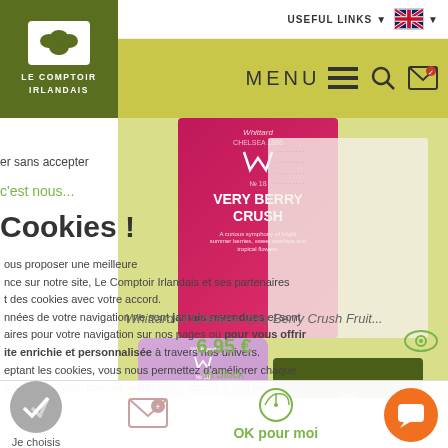USEFUL LINKS
MENU
[Figure (logo): Le Comptoir Irlandais green logo with shamrock]
[Figure (photo): Whittard of Chelsea Very Berry Crush fruit tea boxes and tea bags on yellow-green background with Le Comptoir Irlandais logo]
er sans accepter
c'est nous...
Cookies !
ous proposer une meilleure
nce sur notre site, Le Comptoir Irlandais et ses partenaires
t des cookies avec votre accord.
nnées de votre navigation ne sont jamais revendues et sont
aires pour votre navigation sur nos pages ou pour vous offrir
ite enrichie et personnalisée à travers nos univers.
eptant les cookies, vous nous permettez d'améliorer chaque
s services. Vous pourrez retirer votre accord à tout moment.
Whittard of Chelsea Very Berry Crush Fruit...
6,95 €
In Stock
Je choisis
OK pour moi